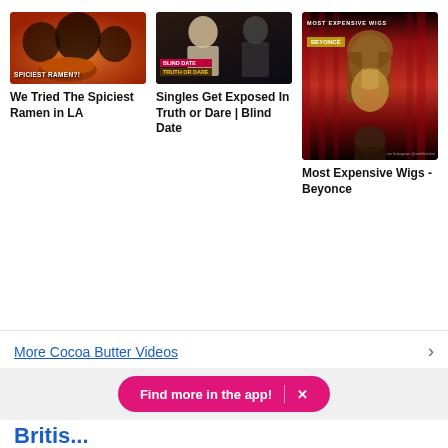[Figure (screenshot): Video thumbnail for 'We Tried The Spiciest Ramen in LA' showing people eating ramen with orange/red background and text 'SPICIEST RAMEN?!']
We Tried The Spiciest Ramen in LA
[Figure (screenshot): Video thumbnail for 'Singles Get Exposed In Truth or Dare | Blind Date' showing a person with text 'BLIND DATE TRUTH OR DARE']
Singles Get Exposed In Truth or Dare | Blind Date
[Figure (screenshot): Video thumbnail for 'Most Expensive Wigs - Beyonce' showing a woman in sparkly dress against red curtain with text 'MOST EXPENSIVE WIGS BEYONCÉ']
Most Expensive Wigs - Beyonce
More Cocoa Butter Videos
Find more in the app!